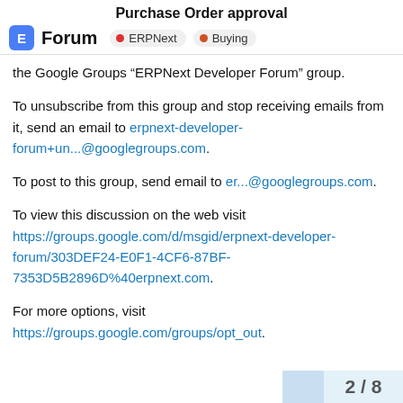Purchase Order approval
Forum | ERPNext | Buying
the Google Groups “ERPNext Developer Forum” group.
To unsubscribe from this group and stop receiving emails from it, send an email to erpnext-developer-forum+un...@googlegroups.com.
To post to this group, send email to er...@googlegroups.com.
To view this discussion on the web visit https://groups.google.com/d/msgid/erpnext-developer-forum/303DEF24-E0F1-4CF6-87BF-7353D5B2896D%40erpnext.com.
For more options, visit https://groups.google.com/groups/opt_out.
2 / 8